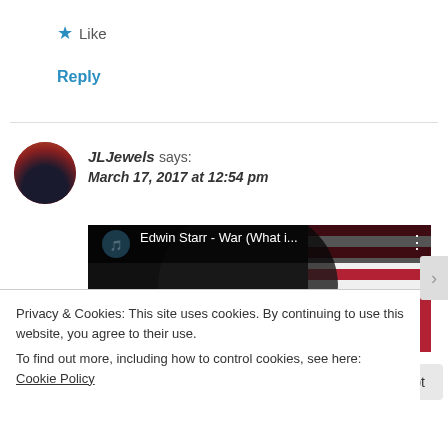★ Like
Reply
JLJewels says:
March 17, 2017 at 12:54 pm
[Figure (screenshot): YouTube video embed showing Edwin Starr - War (What i... with a play button overlay on a dark background with American flag]
Privacy & Cookies: This site uses cookies. By continuing to use this website, you agree to their use.
To find out more, including how to control cookies, see here: Cookie Policy
Close and accept